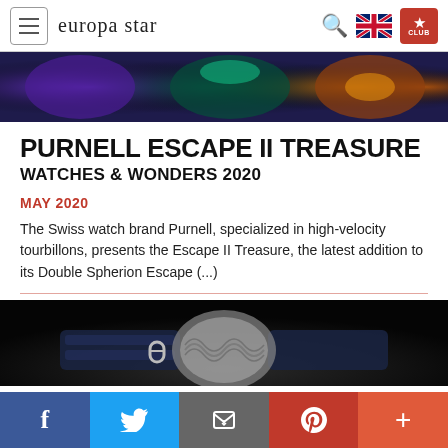europa star
[Figure (photo): Colorful decorative luxury watches close-up, featuring blue, green, and gold tones]
PURNELL ESCAPE II TREASURE
WATCHES & WONDERS 2020
MAY 2020
The Swiss watch brand Purnell, specialized in high-velocity tourbillons, presents the Escape II Treasure, the latest addition to its Double Spherion Escape (...)
[Figure (photo): Close-up of a luxury watch with blue alligator strap and metallic case, on dark background]
f  Twitter  Email  Pinterest  +